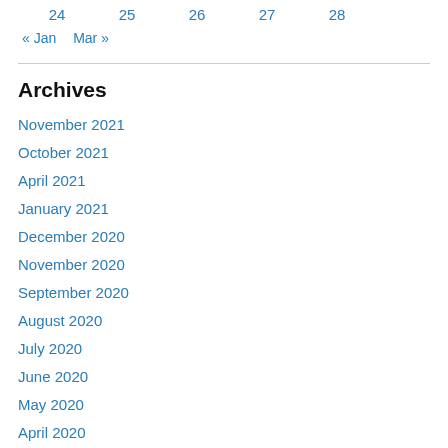| 24 | 25 | 26 | 27 | 28 |
| --- | --- | --- | --- | --- |
« Jan   Mar »
Archives
November 2021
October 2021
April 2021
January 2021
December 2020
November 2020
September 2020
August 2020
July 2020
June 2020
May 2020
April 2020
September 2018
August 2018